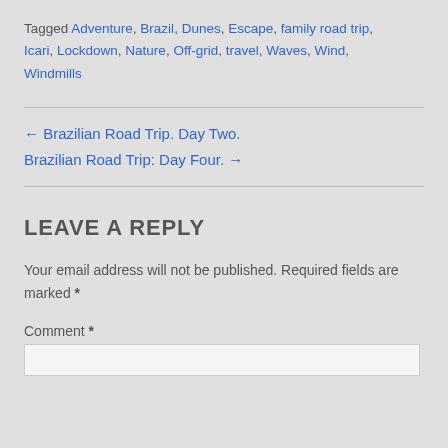Tagged Adventure, Brazil, Dunes, Escape, family road trip, Icari, Lockdown, Nature, Off-grid, travel, Waves, Wind, Windmills
← Brazilian Road Trip. Day Two.
Brazilian Road Trip: Day Four. →
LEAVE A REPLY
Your email address will not be published. Required fields are marked *
Comment *